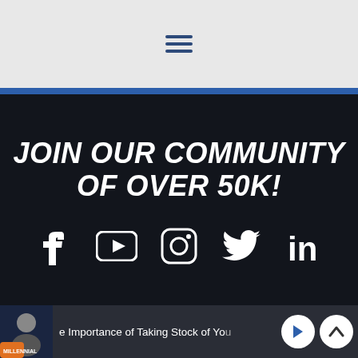Navigation hamburger menu icon
JOIN OUR COMMUNITY OF OVER 50K!
[Figure (infographic): Social media icons row: Facebook, YouTube, Instagram, Twitter, LinkedIn — white icons on dark background]
e Importance of Taking Stock of You